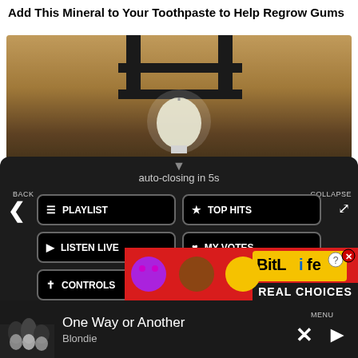Add This Mineral to Your Toothpaste to Help Regrow Gums
[Figure (photo): Article thumbnail image showing a light bulb hanging from a dark metal fixture against a stone wall background]
auto-closing in 5s
BACK
COLLAPSE
PLAYLIST
TOP HITS
LISTEN LIVE
MY VOTES
CONTROLS
Data opt-out
[Figure (screenshot): BitLife REAL CHOICES advertisement banner with cartoon emoji characters on red background]
MENU
One Way or Another
Blondie